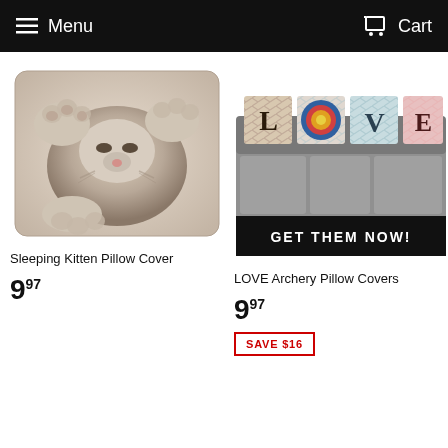Menu  Cart
[Figure (photo): Sleeping kitten pillow cover product photo — a square pillow with a printed image of a cat lying on its back with paws up]
Sleeping Kitten Pillow Cover
9.97
[Figure (photo): LOVE Archery Pillow Covers product photo — four decorative pillows on a grey sofa spelling LOVE with archery/chevron designs, with a GET THEM NOW! black banner]
LOVE Archery Pillow Covers
9.97
SAVE $16